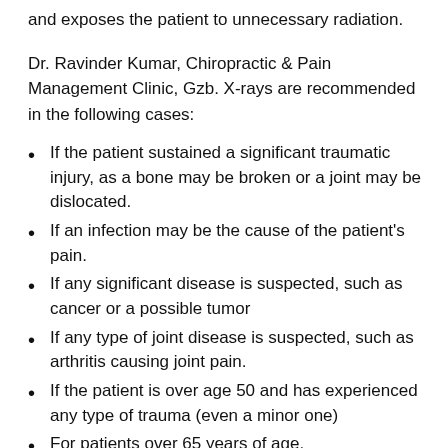and exposes the patient to unnecessary radiation.
Dr. Ravinder Kumar, Chiropractic & Pain Management Clinic, Gzb. X-rays are recommended in the following cases:
If the patient sustained a significant traumatic injury, as a bone may be broken or a joint may be dislocated.
If an infection may be the cause of the patient's pain.
If any significant disease is suspected, such as cancer or a possible tumor
If any type of joint disease is suspected, such as arthritis causing joint pain.
If the patient is over age 50 and has experienced any type of trauma (even a minor one)
For patients over 65 years of age.
Anyone who has been diagnosed with or who may